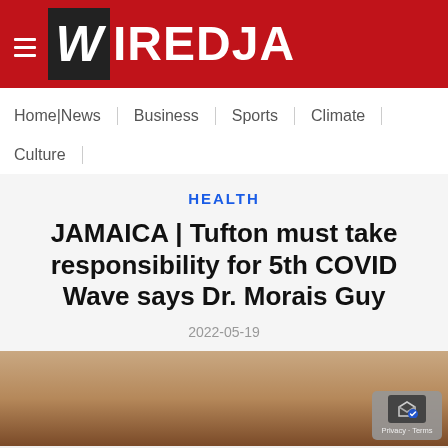WiredJA
Home|News | Business | Sports | Climate | Culture
HEALTH
JAMAICA | Tufton must take responsibility for 5th COVID Wave says Dr. Morais Guy
2022-05-19
[Figure (photo): Photo of Dr. Morais Guy, a man in a suit, partially visible at the bottom of the page]